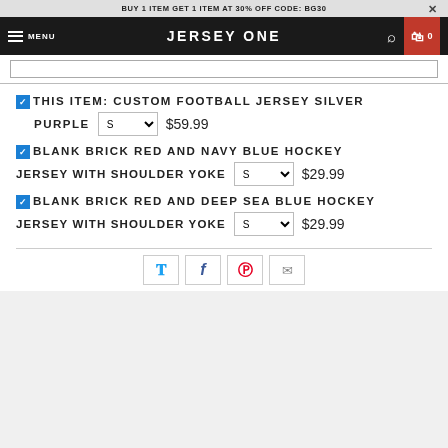BUY 1 ITEM GET 1 ITEM AT 30% OFF CODE: BG30
[Figure (screenshot): Navigation bar with hamburger menu, JERSEY ONE brand name, search icon, and cart icon (0 items)]
THIS ITEM: CUSTOM FOOTBALL JERSEY SILVER PURPLE  S  $59.99
BLANK BRICK RED AND NAVY BLUE HOCKEY JERSEY WITH SHOULDER YOKE  S  $29.99
BLANK BRICK RED AND DEEP SEA BLUE HOCKEY JERSEY WITH SHOULDER YOKE  S  $29.99